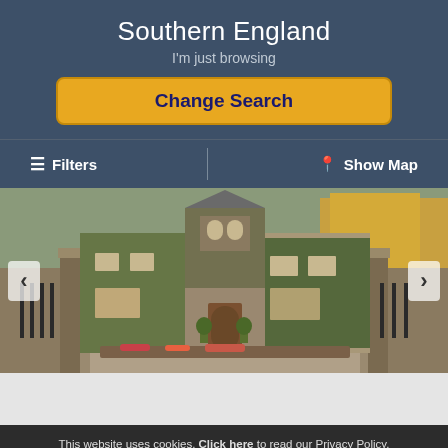Southern England
I'm just browsing
Change Search
☰  Filters
⊞  Show Map
[Figure (photo): Exterior of a stone manor house covered in ivy with decorative architectural features, photographed during autumn with orange and green foliage visible.]
This website uses cookies. Click here to read our Privacy Policy. If that's okay with you, just keep browsing. CLOSE